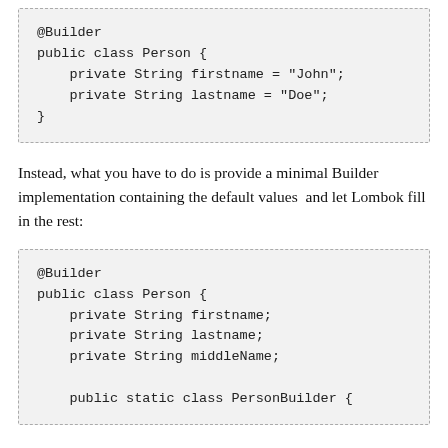@Builder
public class Person {
    private String firstname = "John";
    private String lastname = "Doe";
}
Instead, what you have to do is provide a minimal Builder implementation containing the default values  and let Lombok fill in the rest:
@Builder
public class Person {
    private String firstname;
    private String lastname;
    private String middleName;

    public static class PersonBuilder {